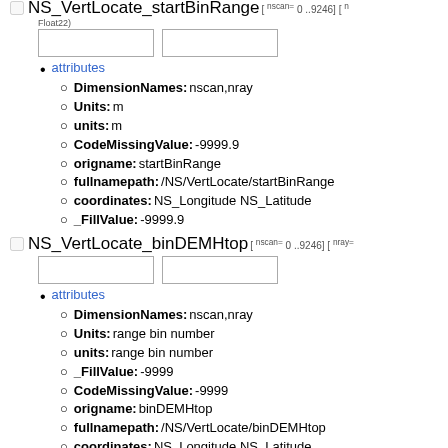NS_VertLocate_startBinRange[ nscan= 0 ..9246] [ nray= ...
Float22
attributes
DimensionNames: nscan,nray
Units: m
units: m
CodeMissingValue: -9999.9
origname: startBinRange
fullnamepath: /NS/VertLocate/startBinRange
coordinates: NS_Longitude NS_Latitude
_FillValue: -9999.9
NS_VertLocate_binDEMHtop[ nscan= 0 ..9246] [ nray=...
attributes
DimensionNames: nscan,nray
Units: range bin number
units: range bin number
_FillValue: -9999
CodeMissingValue: -9999
origname: binDEMHtop
fullnamepath: /NS/VertLocate/binDEMHtop
coordinates: NS_Longitude NS_Latitude
NS_VertLocate_ratioCoast[ nscan= 0 ..9246] [ nray= 0 ...
attributes